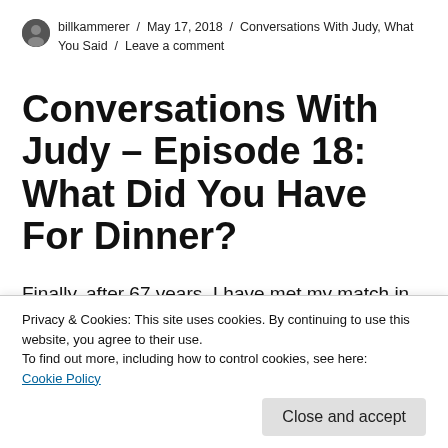billkammerer / May 17, 2018 / Conversations With Judy, What You Said / Leave a comment
Conversations With Judy – Episode 18: What Did You Have For Dinner?
Finally, after 67 years, I have met my match in the kitchen. Out of respect for my friend's
Privacy & Cookies: This site uses cookies. By continuing to use this website, you agree to their use.
To find out more, including how to control cookies, see here:
Cookie Policy
Close and accept
I'll tell you...